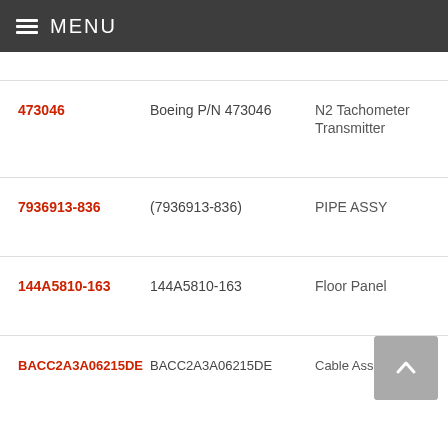MENU
| Part Number | Manufacturer P/N | Description |
| --- | --- | --- |
| 473046 | Boeing P/N 473046 | N2 Tachometer Transmitter |
| 7936913-836 | (7936913-836) | PIPE ASSY |
| 144A5810-163 | 144A5810-163 | Floor Panel |
| BACC2A3A06215DE | BACC2A3A06215DE | Cable Assembly |